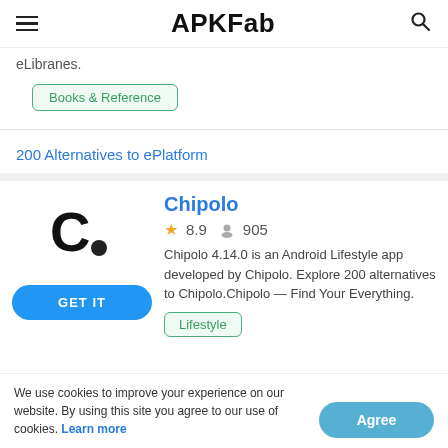APKFab
eLibranes.
Books & Reference
200 Alternatives to ePlatform
Chipolo
★ 8.9  👤 905
Chipolo 4.14.0 is an Android Lifestyle app developed by Chipolo. Explore 200 alternatives to Chipolo.Chipolo — Find Your Everything.
Lifestyle
We use cookies to improve your experience on our website. By using this site you agree to our use of cookies. Learn more